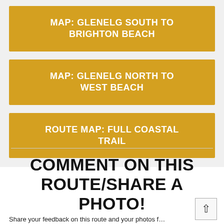MAP: GLENELG SOUTH TO BRIGHTON BEACH
MAP: GLENELG NORTH TO WEST BEACH
ROUTE MAP: FULL COASTAL TRAIL
COMMENT ON THIS ROUTE/SHARE A PHOTO!
Share your feedback on this route and your photos f…